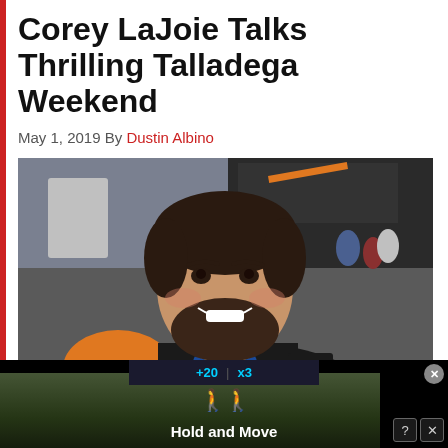Corey LaJoie Talks Thrilling Talladega Weekend
May 1, 2019 By Dustin Albino
[Figure (photo): Corey LaJoie smiling in his Ford NASCAR racing suit with orange and black colors, standing in a race paddock area]
[Figure (screenshot): Advertisement banner showing a scoreboard display with '20' and 'X3' scores in cyan text, with person icons and 'Hold and Move' text overlay. Close and X buttons visible in corner.]